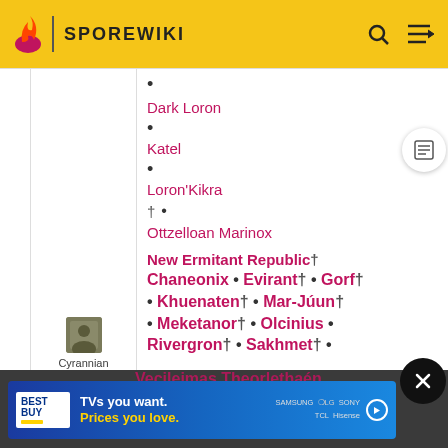SPOREWIKI
Dark Loron
Katel
Loron'Kikra
† Ottzelloan Marinox
[Figure (photo): Small user avatar thumbnail for Cyrannian]
Cyrannian
New Ermitant Republic†
Chaneonix • Evirant† • Gorf† • Khuenaten† • Mar-Júun† • Meketanor† • Olcinius • Rivergron† • Sakhmet† •
[Figure (other): Best Buy advertisement banner - TVs you want. Prices you love.]